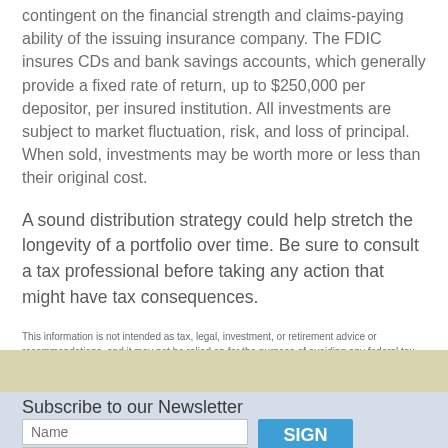contingent on the financial strength and claims-paying ability of the issuing insurance company. The FDIC insures CDs and bank savings accounts, which generally provide a fixed rate of return, up to $250,000 per depositor, per insured institution. All investments are subject to market fluctuation, risk, and loss of principal. When sold, investments may be worth more or less than their original cost.
A sound distribution strategy could help stretch the longevity of a portfolio over time. Be sure to consult a tax professional before taking any action that might have tax consequences.
This information is not intended as tax, legal, investment, or retirement advice or recommendations, and it may not be relied on for the purpose of avoiding any federal tax penalties. You are encouraged to seek guidance from an independent tax or legal professional. The content is derived from sources believed to be accurate. Neither the information presented nor any opinion expressed constitutes a solicitation for the purchase or sale of any security. This material was written and prepared by Broadridge Advisor Solutions. © 2021 Broadridge Financial Solutions, Inc.
Subscribe to our Newsletter